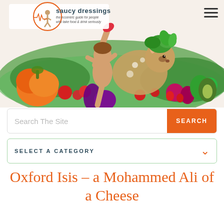[Figure (illustration): Saucy Dressings website header banner. Logo with circular illustration of woman with vegetables, text 'saucy dressings' and tagline 'the eccentric guide for people who take food & drink seriously'. Hamburger menu icon top right. Hero banner image showing colorful watercolor illustration of a deer/fawn figure surrounded by abundance of vibrant vegetables and fruits including pumpkin, tomatoes, peppers, avocado, eggplant, beets, and green leaves.]
Search The Site
SEARCH
SELECT A CATEGORY
Oxford Isis – a Mohammed Ali of a Cheese